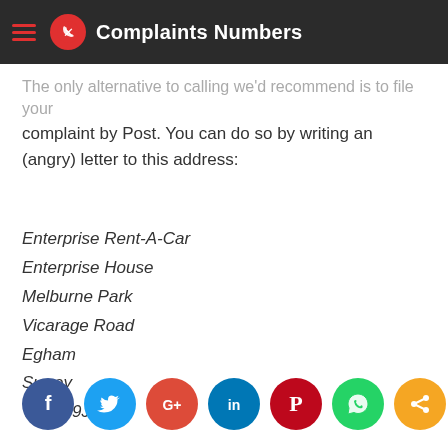Complaints Numbers
The only alternative to calling we'd recommend is to file your complaint by Post. You can do so by writing an (angry) letter to this address:
Enterprise Rent-A-Car
Enterprise House
Melburne Park
Vicarage Road
Egham
Surrey
TW20 9JY
[Figure (infographic): Row of seven social media sharing icons: Facebook (dark blue), Twitter (light blue), Google+ (red-orange), LinkedIn (blue), Pinterest (dark red), WhatsApp (green), Share (orange)]